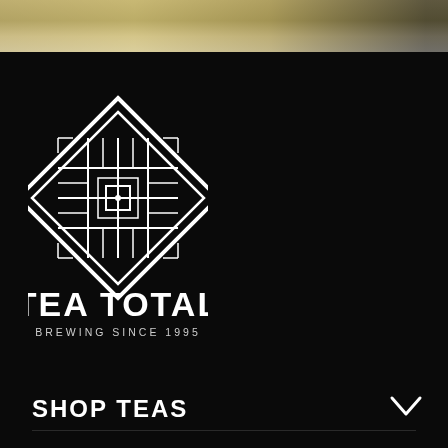[Figure (photo): Top strip showing a partial image of plants/greenery with warm golden-brown tones fading to dark on the right]
[Figure (logo): Tea Total logo — a white geometric diamond/square rotated 45 degrees with an intricate maze-like pattern inside containing the letters T and other geometric shapes]
TEA TOTAL
BREWING SINCE 1995
SHOP TEAS